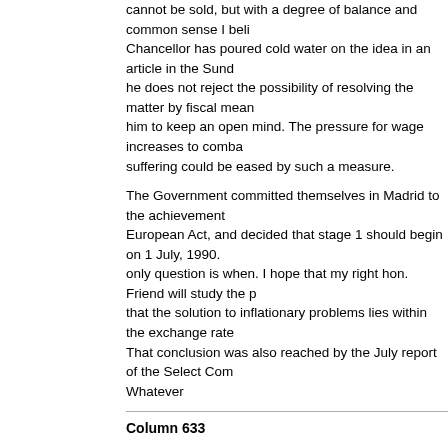cannot be sold, but with a degree of balance and common sense I believe Chancellor has poured cold water on the idea in an article in the Sunday he does not reject the possibility of resolving the matter by fiscal means him to keep an open mind. The pressure for wage increases to combat suffering could be eased by such a measure.
The Government committed themselves in Madrid to the achievement of the European Act, and decided that stage 1 should begin on 1 July, 1990. only question is when. I hope that my right hon. Friend will study the paper that the solution to inflationary problems lies within the exchange rate mechanism. That conclusion was also reached by the July report of the Select Committee. Whatever
Column 633
we do, we should not miss the bus. If the Government take the view that they want to join the ERM, I feel that that will be disastrous for us. If we join the benefits, and that many of the problems that we have encountered since
My right hon. Friend faces daunting tasks, but I have every faith in is a able man; the least of those problems will be dealing with the Opposition.
6.47 pm
Mr. William Ross (Londonderry, East) : Readers of Hansard will see the record of increasing public expenditure from £168 billion to £203 billion between carefully that I must have misheard the figures, because the increase he mentioned the correct figure of £35 billion--a huge, increase, even if the gross domestic product is correct.
I appreciate that the Chancellor now has a huge Budget surplus. I am